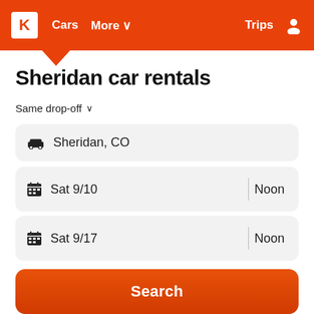Kayak navigation bar with logo K, Cars, More, Trips, user icon
Sheridan car rentals
Same drop-off ∨
Sheridan, CO
Sat 9/10  |  Noon
Sat 9/17  |  Noon
Search
Compare hundreds of rental car sites at once for car